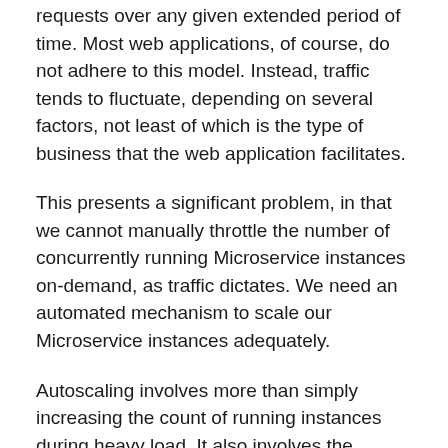requests over any given extended period of time. Most web applications, of course, do not adhere to this model. Instead, traffic tends to fluctuate, depending on several factors, not least of which is the type of business that the web application facilitates.
This presents a significant problem, in that we cannot manually throttle the number of concurrently running Microservice instances on-demand, as traffic dictates. We need an automated mechanism to scale our Microservice instances adequately.
Autoscaling involves more than simply increasing the count of running instances during heavy load. It also involves the graceful termination of superfluous instances, or instances that are no longer necessary to meet the demands of the application as load is reduced.